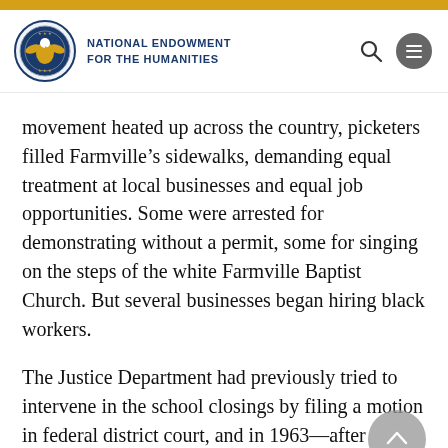NATIONAL ENDOWMENT FOR THE HUMANITIES
movement heated up across the country, picketers filled Farmville’s sidewalks, demanding equal treatment at local businesses and equal job opportunities. Some were arrested for demonstrating without a permit, some for singing on the steps of the white Farmville Baptist Church. But several businesses began hiring black workers.
The Justice Department had previously tried to intervene in the school closings by filing a motion in federal district court, and in 1963—after